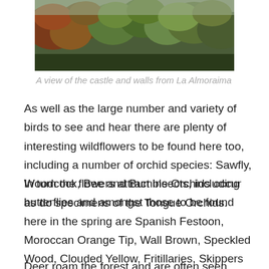[Figure (photo): A photo showing a forest landscape with trees displaying autumn colors — orange, red, and green foliage against an overcast sky, viewed from La Almoraima.]
A view of the castle and walls from La Almoraima
As well as the large number and variety of birds to see and hear there are plenty of interesting wildflowers to be found here too, including a number of orchid species: Sawfly, Woodcock, Bee and Bumble Orchids occur as do specimens of the Tongue Orchids.
In turn the flowers attract insects, including butterflies and amongst those to be found here in the spring are Spanish Festoon, Moroccan Orange Tip, Wall Brown, Speckled Wood, Clouded Yellow, Fritillaries, Skippers and various Whites.
Deer roam the forest and are often seen, albeit briefly